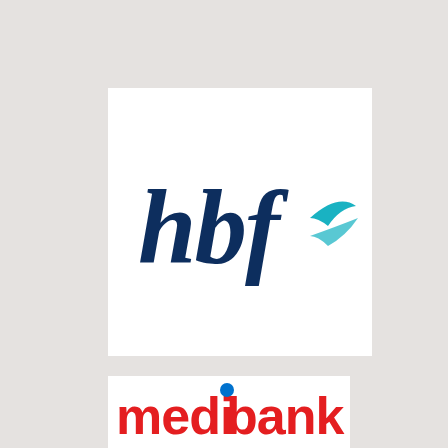[Figure (logo): HBF health insurance logo — 'hbf' in dark navy italic handwritten-style lettering with a teal/cyan swoosh/wing graphic to the right, on a white background]
[Figure (logo): Medibank logo — 'medibank' in bold red lettering with a blue dot/circle replacing the 'i', on a white background]